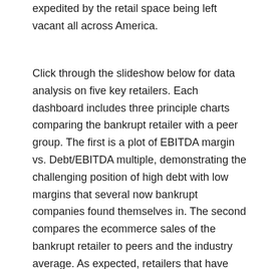expedited by the retail space being left vacant all across America.
Click through the slideshow below for data analysis on five key retailers. Each dashboard includes three principle charts comparing the bankrupt retailer with a peer group. The first is a plot of EBITDA margin vs. Debt/EBITDA multiple, demonstrating the challenging position of high debt with low margins that several now bankrupt companies found themselves in. The second compares the ecommerce sales of the bankrupt retailer to peers and the industry average. As expected, retailers that have been hit especially hard by the pandemic have subpar ecommerce sales. Finally, the third chart compares either Capex as a % of sales or Debt/EBITDA multiples for the past 4 years. Retailers such as JC Penney, New York and Co, and J Crew failed